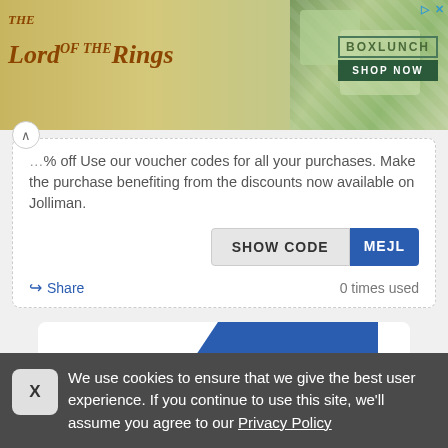[Figure (screenshot): Lord of the Rings BoxLunch advertisement banner with logo and shop now button]
% off Use our voucher codes for all your purchases. Make the purchase benefiting from the discounts now available on Jolliman.
[Figure (screenshot): SHOW CODE button with MEJL code reveal in blue]
Share   0 times used
[Figure (screenshot): Partially visible voucher card with blue diagonal Voucher code ribbon]
We use cookies to ensure that we give the best user experience. If you continue to use this site, we'll assume you agree to our Privacy Policy